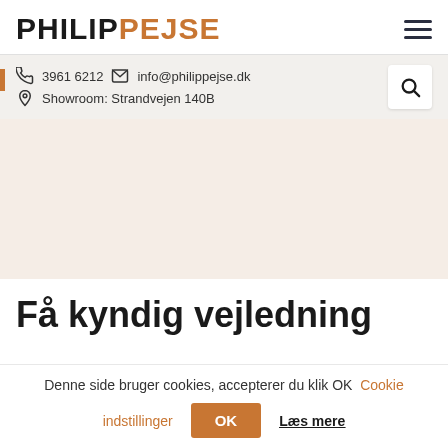PHILIP PEJSE
3961 6212  info@philippejse.dk  Showroom: Strandvejen 140B
Få kyndig vejledning
Denne side bruger cookies, accepterer du klik OK  Cookie indstillinger  OK  Læs mere